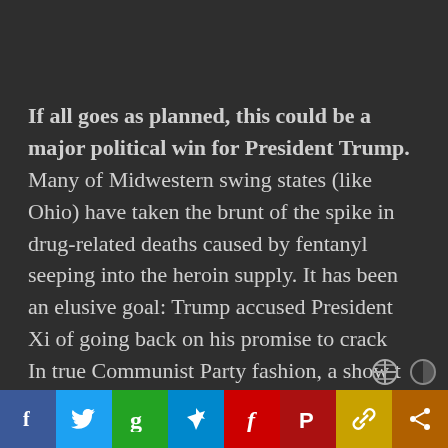If all goes as planned, this could be a major political win for President Trump. Many of Midwestern swing states (like Ohio) have taken the brunt of the spike in drug-related deaths caused by fentanyl seeping into the heroin supply. It has been an elusive goal: Trump accused President Xi of going back on his promise to crack down on the production of fentanyl and its analogues.
In true Communist Party fashion, a show t...
[Figure (other): Social media sharing bar with icons for Facebook (blue), Twitter (light blue), Google (green), Telegram (blue), Flipboard (red), Parler (dark red), chain/link (gold), and share (brown/orange)]